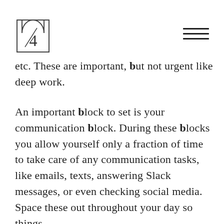Logo and navigation menu
etc. These are important, but not urgent like deep work.
An important block to set is your communication block. During these blocks you allow yourself only a fraction of time to take care of any communication tasks, like emails, texts, answering Slack messages, or even checking social media. Space these out throughout your day so things